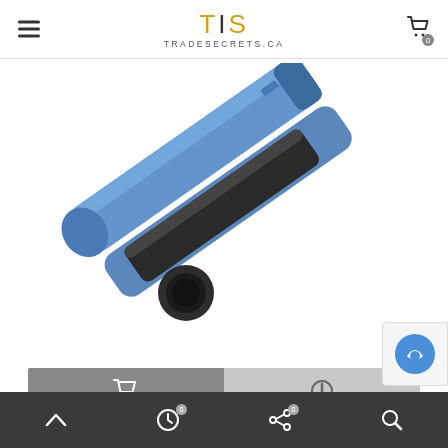TIS TRADESECRETS.CA
[Figure (photo): Blue BaByliss PRO C-Style Curved Flat Iron hair styling tool on white background]
[Figure (other): Action bar with cart icon button (dark grey) and compare/info icon button (light grey)]
BaByliss PRO C-Style Curved Flat...
CAD $145.92
Bottom navigation bar with up arrow, recent items (0), share (0), search icons